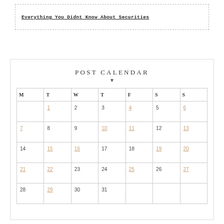Everything You Didnt Know About Securities
POST CALENDAR
| M | T | W | T | F | S | S |
| --- | --- | --- | --- | --- | --- | --- |
|  | 1 | 2 | 3 | 4 | 5 | 6 |
| 7 | 8 | 9 | 10 | 11 | 12 | 13 |
| 14 | 15 | 16 | 17 | 18 | 19 | 20 |
| 21 | 22 | 23 | 24 | 25 | 26 | 27 |
| 28 | 29 | 30 | 31 |  |  |  |